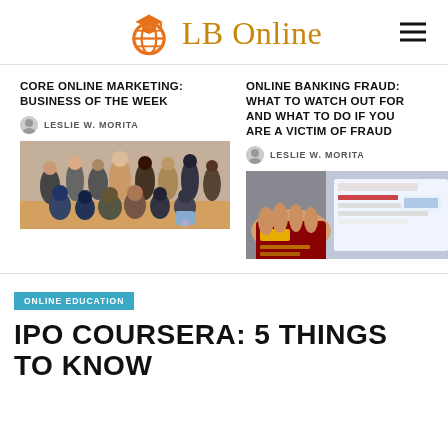LB Online
CORE ONLINE MARKETING: BUSINESS OF THE WEEK
LESLIE W. MORITA
[Figure (photo): Group photo of people standing and kneeling together in a gymnasium or community space]
ONLINE BANKING FRAUD: WHAT TO WATCH OUT FOR AND WHAT TO DO IF YOU ARE A VICTIM OF FRAUD
LESLIE W. MORITA
[Figure (photo): A hand holding a credit card near a laptop or tablet screen showing an online banking or shopping interface]
ONLINE EDUCATION
IPO COURSERA: 5 THINGS TO KNOW